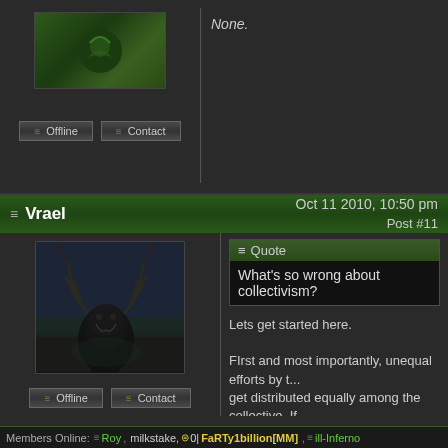[Figure (screenshot): Forum post avatar area top - dark green gradient avatar placeholder with icon]
None.
Offline  Contact
≡ Vrael   Oct 11 2010, 10:50 pm  Post #11
[Figure (photo): Dark fantasy creature with large antlers/horns against dark background]
Offline  Contact
Quote
What's so wrong about collectivism?

Lets get started here.

FIrst and most importantly, unequal efforts by t... get distributed equally among the collective. If ... single night in my apartment, my roommates a... them, while I'm putting in all the effort. You mig... the trash and vaccuum the place," but that reve... situation. Washing dishes, taking out the trash,... everyone is capable of. Now say that I am som... Einstein, and I build the first television or some... taken from me, replicated, and everyone can u... If I receive compensation for my efforts, then th... capitalism, where everyone can succeed or fai... So I get nothing except what everyone else ge... "someone as smart as you has built a car, and
Members Online:  ≡ Roy, milkstake,  ⊜ 0| FaRTy1billion[MM],  ≡ ill-Inferno